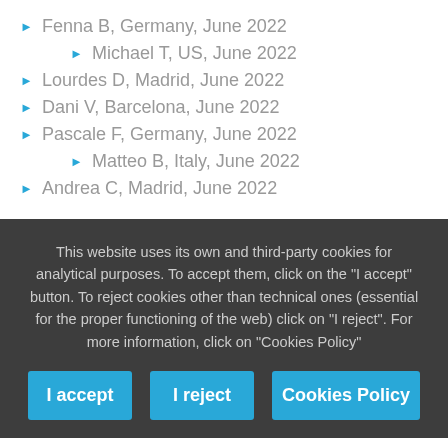Fenna B, Germany, June 2022
Michael T, US, June 2022
Lourdes D, Madrid, June 2022
Dani V, Barcelona, June 2022
Pascale F, Germany, June 2022
Matteo B, Italy, June 2022
Andrea C, Madrid, June 2022
This website uses its own and third-party cookies for analytical purposes. To accept them, click on the "I accept" button. To reject cookies other than technical ones (essential for the proper functioning of the web) click on "I reject". For more information, click on "Cookies Policy"
I accept | I reject | Cookies Policy